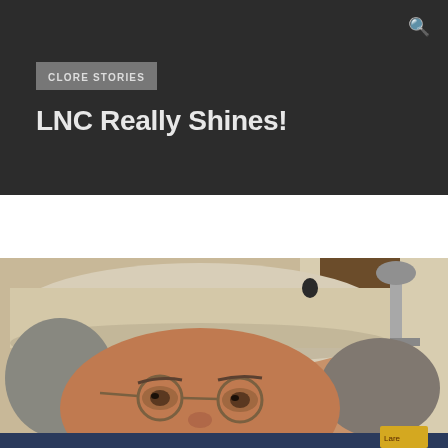🔍
CLORE STORIES
LNC Really Shines!
[Figure (photo): Close-up photo of a person wearing a light-colored hat and round wire-framed glasses, with gray hair visible. In the background there is a microphone stand and what appears to be a recording or broadcast setup.]